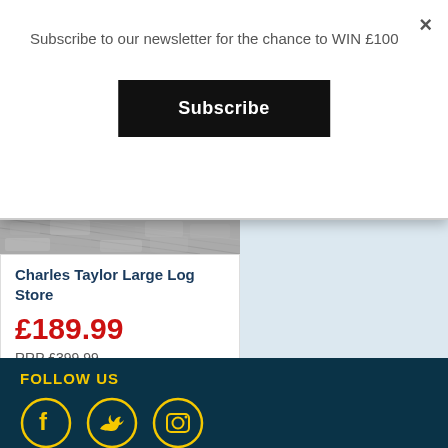Subscribe to our newsletter for the chance to WIN £100
Subscribe
Charles Taylor Large Log Store
£189.99
RRP £399.99
BUY
FOLLOW US
[Figure (illustration): Social media icons: Facebook, Twitter, Instagram in yellow circle outlines on dark blue background]